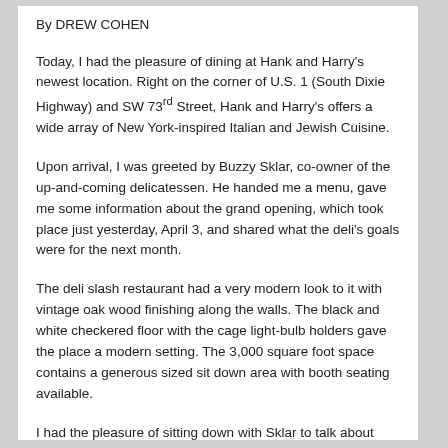By DREW COHEN
Today, I had the pleasure of dining at Hank and Harry's newest location. Right on the corner of U.S. 1 (South Dixie Highway) and SW 73rd Street, Hank and Harry's offers a wide array of New York-inspired Italian and Jewish Cuisine.
Upon arrival, I was greeted by Buzzy Sklar, co-owner of the up-and-coming delicatessen. He handed me a menu, gave me some information about the grand opening, which took place just yesterday, April 3, and shared what the deli's goals were for the next month.
The deli slash restaurant had a very modern look to it with vintage oak wood finishing along the walls. The black and white checkered floor with the cage light-bulb holders gave the place a modern setting. The 3,000 square foot space contains a generous sized sit down area with booth seating available.
I had the pleasure of sitting down with Sklar to talk about